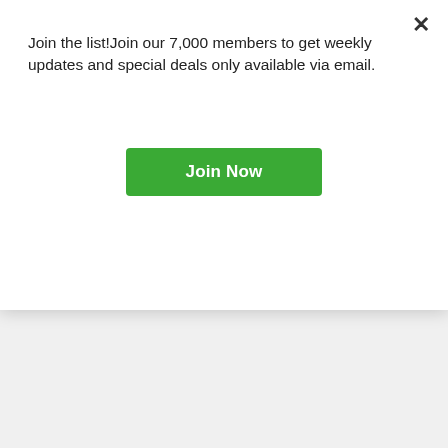Join the list!Join our 7,000 members to get weekly updates and special deals only available via email.
Join Now
Indoor Sports Centres • Gaming & Entertainment Centres • Indoor Skating Rinks
View Profile
[Figure (logo): GT GameTime Eatery & Entertainment logo with red and black block letters]
GameTime – Brantford